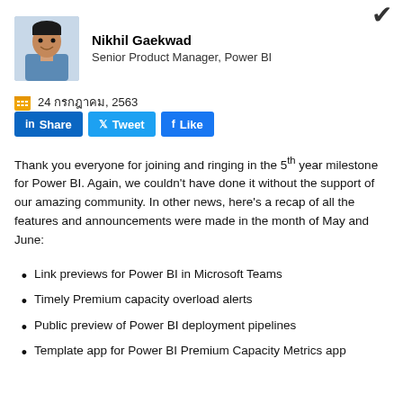[Figure (photo): Profile photo of Nikhil Gaekwad, a man in a blue shirt, smiling]
Nikhil Gaekwad
Senior Product Manager, Power BI
24 กรกฎาคม, 2563
[Figure (infographic): Social share buttons: LinkedIn Share, Twitter Tweet, Facebook Like]
Thank you everyone for joining and ringing in the 5th year milestone for Power BI. Again, we couldn't have done it without the support of our amazing community. In other news, here's a recap of all the features and announcements were made in the month of May and June:
Link previews for Power BI in Microsoft Teams
Timely Premium capacity overload alerts
Public preview of Power BI deployment pipelines
Template app for Power BI Premium Capacity Metrics app